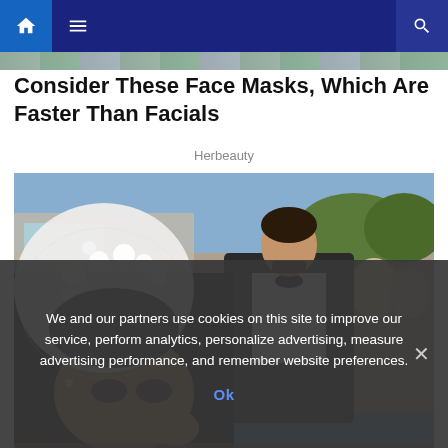Navigation bar with home, menu, and search icons
Consider These Face Masks, Which Are Faster Than Facials
Herbeauty
[Figure (photo): A bride wearing a white floral veil and a groom in a black tuxedo sitting outdoors at what appears to be a cafe or restaurant setting]
We and our partners use cookies on this site to improve our service, perform analytics, personalize advertising, measure advertising performance, and remember website preferences.
Ok